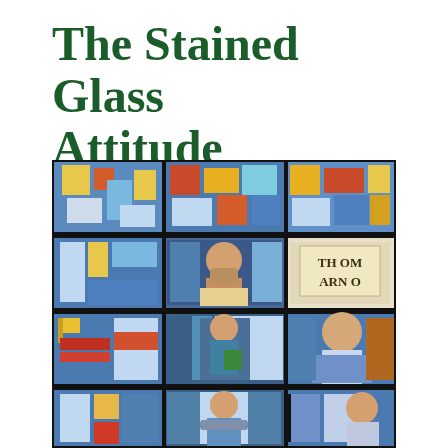The Stained Glass Attitude
[Figure (photo): A photograph of a stained glass window featuring multiple panels with religious figures, geometric patterns, and colorful glass in blues, reds, yellows, and other colors. Text 'THOM ARNO' visible in upper right panel.]